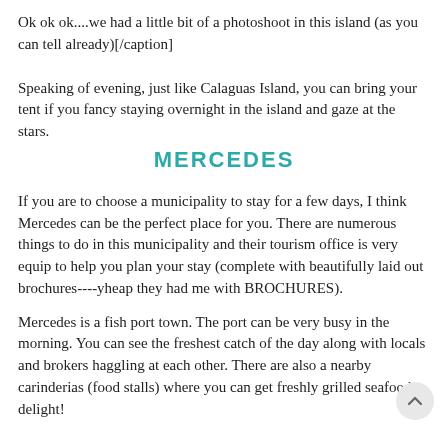Ok ok ok....we had a little bit of a photoshoot in this island (as you can tell already)[/caption]
Speaking of evening, just like Calaguas Island, you can bring your tent if you fancy staying overnight in the island and gaze at the stars.
MERCEDES
If you are to choose a municipality to stay for a few days, I think Mercedes can be the perfect place for you. There are numerous things to do in this municipality and their tourism office is very equip to help you plan your stay (complete with beautifully laid out brochures----yheap they had me with BROCHURES).
Mercedes is a fish port town. The port can be very busy in the morning. You can see the freshest catch of the day along with locals and brokers haggling at each other. There are also a nearby carinderias (food stalls) where you can get freshly grilled seafood delight!